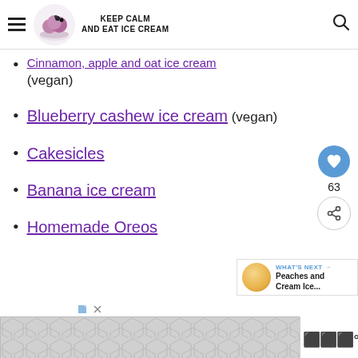KEEP CALM AND EAT ICE CREAM
Cinnamon, apple and oat ice cream (vegan)
Blueberry cashew ice cream (vegan)
Cakesicles
Banana ice cream
Homemade Oreos
[Figure (infographic): Like/heart button with count 63 and share button on right side]
[Figure (infographic): What's Next panel: Peaches and Cream Ice...]
[Figure (infographic): Advertisement banner at bottom with hexagonal pattern]